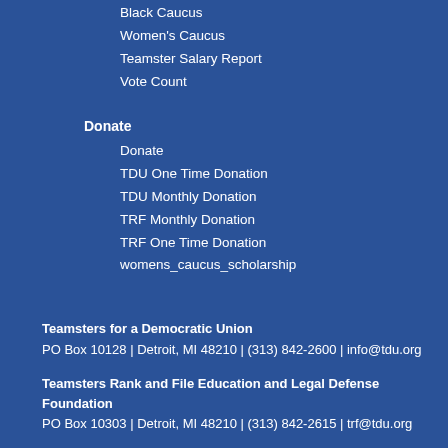Black Caucus
Women's Caucus
Teamster Salary Report
Vote Count
Donate
Donate
TDU One Time Donation
TDU Monthly Donation
TRF Monthly Donation
TRF One Time Donation
womens_caucus_scholarship
Teamsters for a Democratic Union
PO Box 10128  |  Detroit, MI 48210  |  (313) 842-2600  |  info@tdu.org
Teamsters Rank and File Education and Legal Defense Foundation
PO Box 10303  |  Detroit, MI 48210  |  (313) 842-2615  |  trf@tdu.org